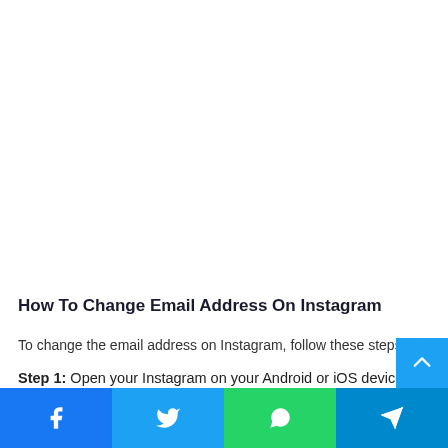How To Change Email Address On Instagram
To change the email address on Instagram, follow these steps:
Step 1: Open your Instagram on your Android or iOS device